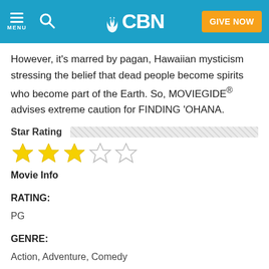CBN — MENU, Search, GIVE NOW
However, it's marred by pagan, Hawaiian mysticism stressing the belief that dead people become spirits who become part of the Earth. So, MOVIEGIDE® advises extreme caution for FINDING 'OHANA.
Star Rating
[Figure (other): 3 out of 5 stars rating: three filled gold stars and two empty stars]
Movie Info
RATING:
PG
GENRE:
Action, Adventure, Comedy